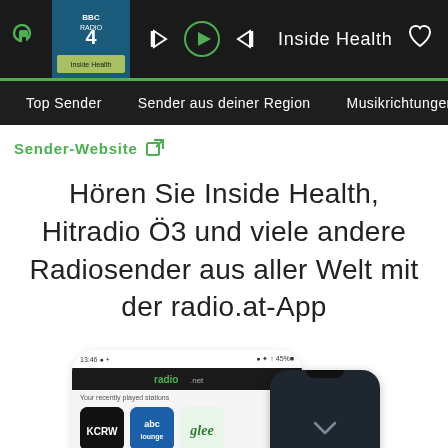[Figure (screenshot): Radio app player bar showing BBC Radio 4 - Inside Health with playback controls and heart icon on dark background]
Top Sender   Sender aus deiner Region   Musikrichtungen
Sender-Website
Hören Sie Inside Health, Hitradio Ö3 und viele andere Radiosender aus aller Welt mit der radio.at-App
[Figure (screenshot): Mobile phone mockups showing the radio.net app interface with recently played stations including KCRW, abc lounge, and glee, plus a dark-themed phone showing a chevron]